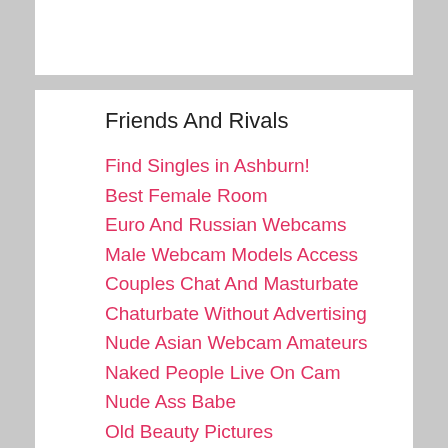Friends And Rivals
Find Singles in Ashburn!
Best Female Room
Euro And Russian Webcams
Male Webcam Models Access
Couples Chat And Masturbate
Chaturbate Without Advertising
Nude Asian Webcam Amateurs
Naked People Live On Cam
Nude Ass Babe
Old Beauty Pictures
Gay Webcam Chatting
Live Bonga Cams